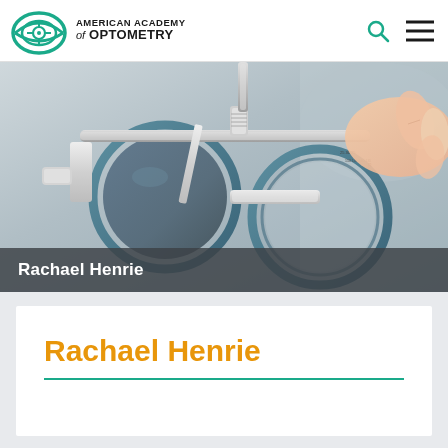[Figure (logo): American Academy of Optometry logo with teal eye/target icon and organization name text]
[Figure (photo): Close-up photo of optometry trial frame/phoropter with blue-rimmed lenses being adjusted by hands, used as hero banner image]
Rachael Henrie
Rachael Henrie